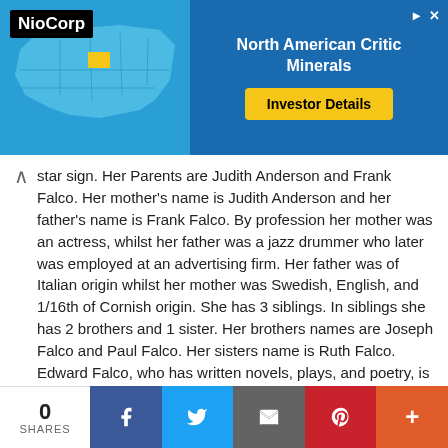[Figure (screenshot): Advertisement banner for NioCorp Critical Minerals featuring a map of the USA and 'Investor Details' button]
star sign. Her Parents are Judith Anderson and Frank Falco. Her mother's name is Judith Anderson and her father's name is Frank Falco. By profession her mother was an actress, whilst her father was a jazz drummer who later was employed at an advertising firm. Her father was of Italian origin whilst her mother was Swedish, English, and 1/16th of Cornish origin. She has 3 siblings. In siblings she has 2 brothers and 1 sister. Her brothers names are Joseph Falco and Paul Falco. Her sisters name is Ruth Falco. Edward Falco, who has written novels, plays, and poetry, is her uncle. Falco was the topic of a segment of Who Do You Think You Are? in 2012, which was about one of her ancestors, a Cornish master mariner from Penzance who was born at sea and passed away in 1840.
Edie Falco grew up on Long Island since she was four years
[Figure (infographic): Social sharing bar with 0 SHARES count, Facebook, Twitter, Email, Pinterest, and More buttons]